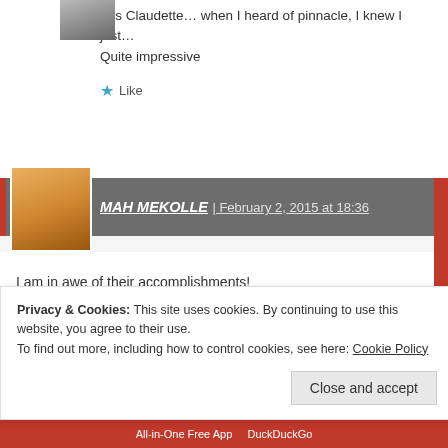Yes Claudette… when I heard of pinnacle, I knew I just… Quite impressive
Like
MAH MEKOLLE | February 2, 2015 at 18:36
I am in awe of their accomplishments!
Liked by 1 person
Privacy & Cookies: This site uses cookies. By continuing to use this website, you agree to their use. To find out more, including how to control cookies, see here: Cookie Policy
Close and accept